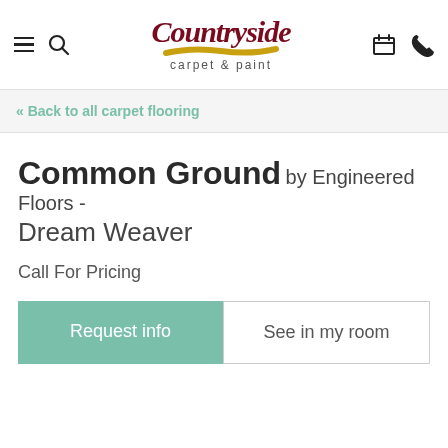Countryside carpet & paint — navigation header
« Back to all carpet flooring
Common Ground by Engineered Floors - Dream Weaver
Call For Pricing
Request info
See in my room